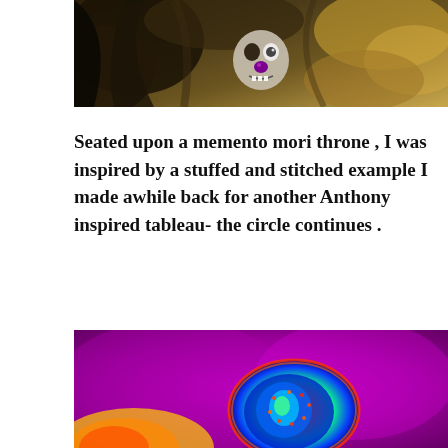[Figure (photo): A dark surreal painting showing a skull-like clown figure with a purple nose amid swirling dark and golden tones reminiscent of Van Gogh's style.]
Seated upon a memento mori throne , I was inspired by a stuffed and stitched example I made awhile back for another Anthony inspired tableau- the circle continues .
[Figure (photo): A thermal or false-color infrared image showing a figure or object in vivid magenta/purple background with blue, green, and red heat-map coloring.]